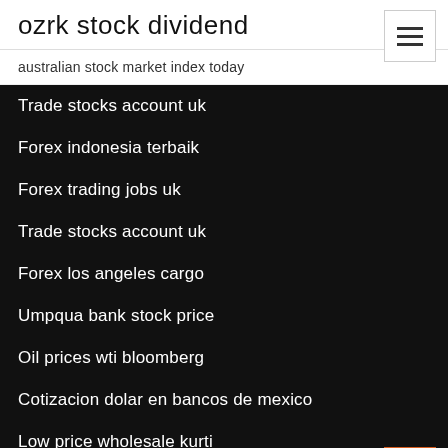ozrk stock dividend
australian stock market index today
Trade stocks account uk
Forex indonesia terbaik
Forex trading jobs uk
Trade stocks account uk
Forex los angeles cargo
Umpqua bank stock price
Oil prices wti bloomberg
Cotizacion dolar en bancos de mexico
Low price wholesale kurti
Om traders ahmedabad